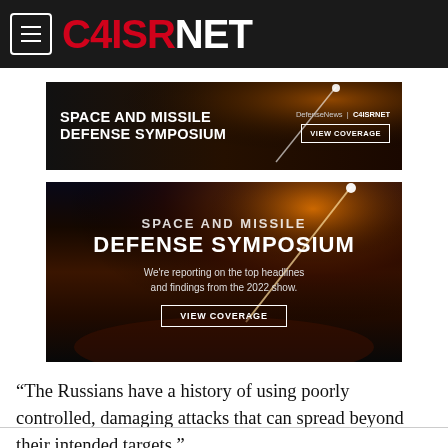C4ISRNET
[Figure (illustration): Space and Missile Defense Symposium advertisement banner - dark background with rocket arc. Text: SPACE AND MISSILE DEFENSE SYMPOSIUM. DefenseNews | C4ISRNET. VIEW COVERAGE button.]
[Figure (illustration): Large Space and Missile Defense Symposium advertisement - dark sky/rocket launch background. Text: SPACE AND MISSILE DEFENSE SYMPOSIUM. We're reporting on the top headlines and findings from the 2022 show. VIEW COVERAGE button.]
“The Russians have a history of using poorly controlled, damaging attacks that can spread beyond their intended targets,”